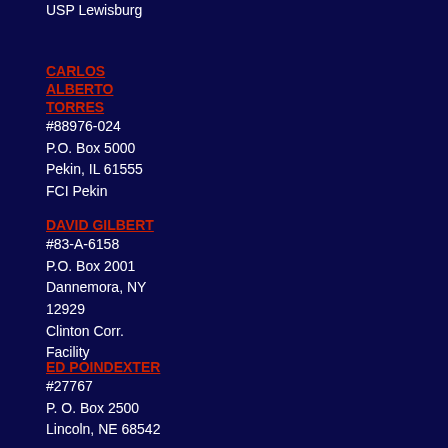USP Lewisburg
CARLOS
ALBERTO
TORRES
#88976-024
P.O. Box 5000
Pekin, IL 61555
FCI Pekin
DAVID GILBERT
#83-A-6158
P.O. Box 2001
Dannemora, NY
12929
Clinton Corr.
Facility
ED POINDEXTER
#27767
P. O. Box 2500
Lincoln, NE 68542